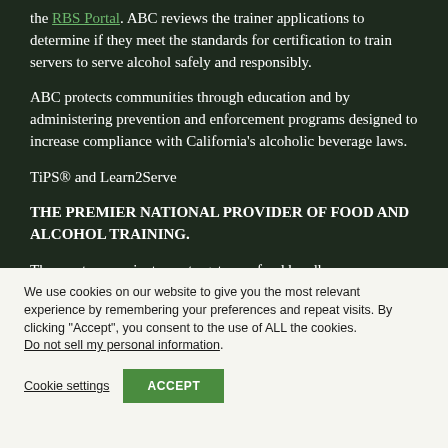the RBS Portal. ABC reviews the trainer applications to determine if they meet the standards for certification to train servers to serve alcohol safely and responsibly.
ABC protects communities through education and by administering prevention and enforcement programs designed to increase compliance with California's alcoholic beverage laws.
TiPS® and Learn2Serve
THE PREMIER NATIONAL PROVIDER OF FOOD AND ALCOHOL TRAINING.
The most convenient way to get your food handler,
We use cookies on our website to give you the most relevant experience by remembering your preferences and repeat visits. By clicking "Accept", you consent to the use of ALL the cookies. Do not sell my personal information.